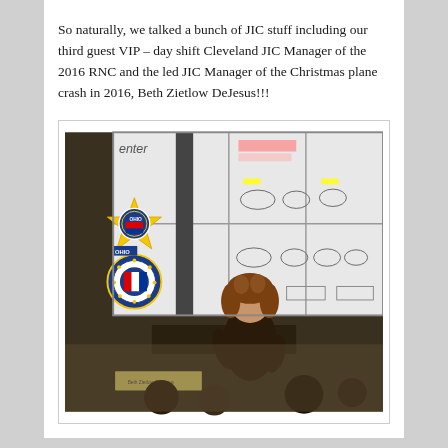So naturally, we talked a bunch of JIC stuff including our third guest VIP – day shift Cleveland JIC Manager of the 2016 RNC and the led JIC Manager of the Christmas plane crash in 2016, Beth Zietlow DeJesus!!!
[Figure (photo): A woman with curly hair stands in front of a large display screen showing organizational charts. On the left side of the screen are law enforcement agency seals including an Ohio sheriff star badge and the FBI seal. The audience is visible from behind in the foreground.]